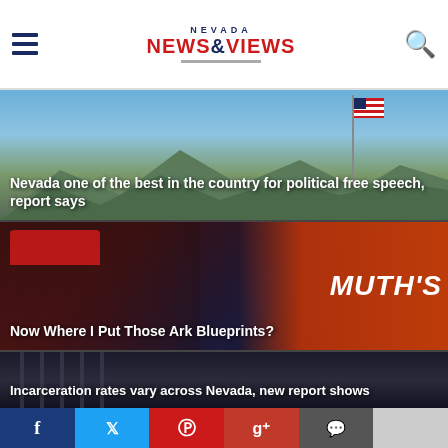Nevada NEWS&VIEWS
[Figure (screenshot): Hero image of American flag against mountain/sky background with article headline overlay]
Nevada one of the best in the country for political free speech, report says
[Figure (photo): Man wearing red MAGA-style hat with MUTH'S branding overlay on right side]
Now Where I Put Those Ark Blueprints?
[Figure (photo): Dark image suggesting incarceration/jail bars background]
Incarceration rates vary across Nevada, new report shows
[Figure (infographic): Social sharing bar with Facebook, Twitter, Pinterest, Google+, Comments, and additional button]